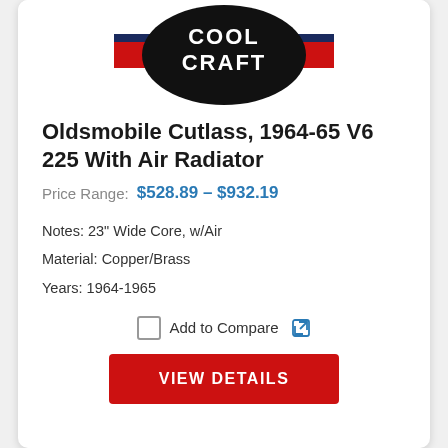[Figure (logo): Cool Craft logo — black oval with white bold text COOL CRAFT, red and navy horizontal stripe accents on sides]
Oldsmobile Cutlass, 1964-65 V6 225 With Air Radiator
Price Range:  $528.89 – $932.19
Notes: 23" Wide Core, w/Air
Material: Copper/Brass
Years: 1964-1965
Add to Compare
VIEW DETAILS